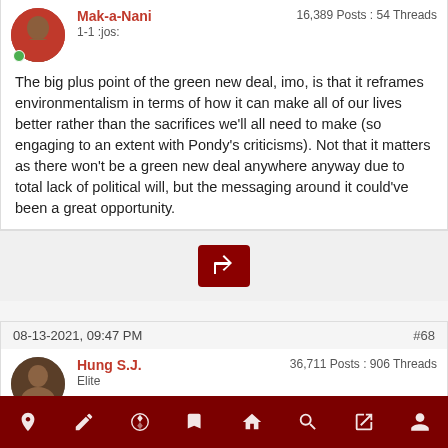Mak-a-Nani
1-1 :jos:
16,389 Posts : 54 Threads
The big plus point of the green new deal, imo, is that it reframes environmentalism in terms of how it can make all of our lives better rather than the sacrifices we'll all need to make (so engaging to an extent with Pondy's criticisms). Not that it matters as there won't be a green new deal anywhere anyway due to total lack of political will, but the messaging around it could've been a great opportunity.
08-13-2021, 09:47 PM   #68
Hung S.J.
Elite
36,711 Posts : 906 Threads
The "Green New Deal" or the "The Green Revolution" is well under way. Global capital are moving their assets en mass to this new disaster form of capitalism. Agri-business and Big Tech are all over it. The IPCC report, the Big Reset etc...is all part of opening up these new markets for the elites and the techno-managerialists to make coin off all of this.